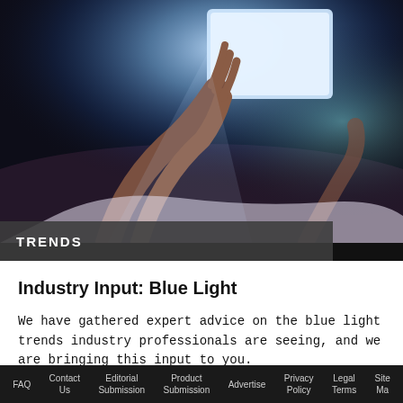[Figure (photo): Person lying in bed holding a glowing tablet in a dark room, with blue light emanating from the screen]
TRENDS
Industry Input: Blue Light
We have gathered expert advice on the blue light trends industry professionals are seeing, and we are bringing this input to you.
Jun 2nd, 2022
FAQ  Contact Us  Editorial Submission  Product Submission  Advertise  Privacy Policy  Legal Terms  Site Map